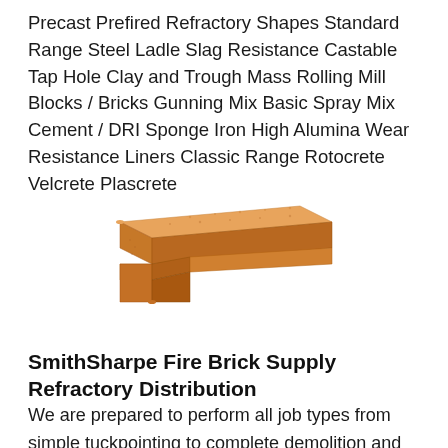Precast Prefired Refractory Shapes Standard Range Steel Ladle Slag Resistance Castable Tap Hole Clay and Trough Mass Rolling Mill Blocks / Bricks Gunning Mix Basic Spray Mix Cement / DRI Sponge Iron High Alumina Wear Resistance Liners Classic Range Rotocrete Velcrete Plascrete
[Figure (photo): A tan/orange colored precast refractory brick shape with an L-shaped or notched profile, showing a three-dimensional molded ceramic refractory piece]
SmithSharpe Fire Brick Supply Refractory Distribution
We are prepared to perform all job types from simple tuckpointing to complete demolition and replacement of all refractory including brick monolithic castable plastic refractory ceramic fiber